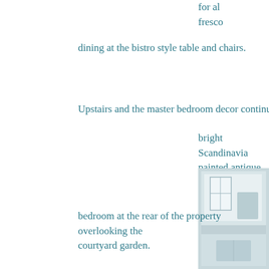for al fresco dining at the bistro style table and chairs.
Upstairs and the master bedroom decor continues the light, bright Scandinavian painted antique furniture kingsize bed, which the gorgeous original Georgian sash windows have installed a new cylinder and updated including putting in shower so there is pressure at the property single
[Figure (photo): Interior photo of a bright room, likely a bedroom or bathroom with light furnishings]
bedroom at the rear of the property overlooking the courtyard garden.